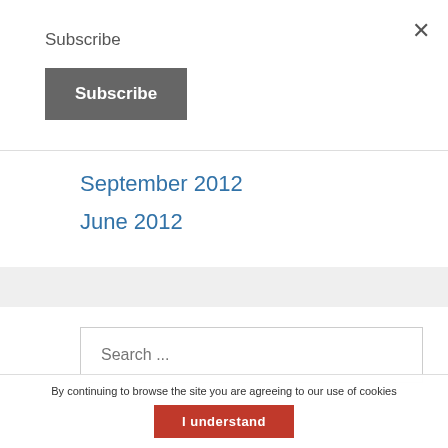×
Subscribe
Subscribe
September 2012
June 2012
Search ...
By continuing to browse the site you are agreeing to our use of cookies
I understand